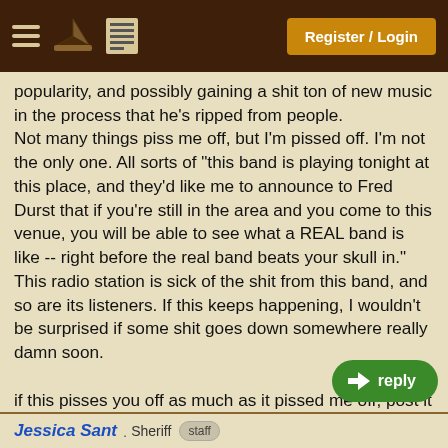Register / Login
popularity, and possibly gaining a shit ton of new music in the process that he's ripped from people.
Not many things piss me off, but I'm pissed off. I'm not the only one. All sorts of "this band is playing tonight at this place, and they'd like me to announce to Fred Durst that if you're still in the area and you come to this venue, you will be able to see what a REAL band is like -- right before the real band beats your skull in." This radio station is sick of the shit from this band, and so are its listeners. If this keeps happening, I wouldn't be surprised if some shit goes down somewhere really damn soon.

if this pisses you off as much as it pissed me off, post it on every forum you read.
Thanks... and don't listen to MTV trendy bands because of bulls@#t like this (and many other notable reasons such as no talent)
Jessica Sant . Sheriff staff